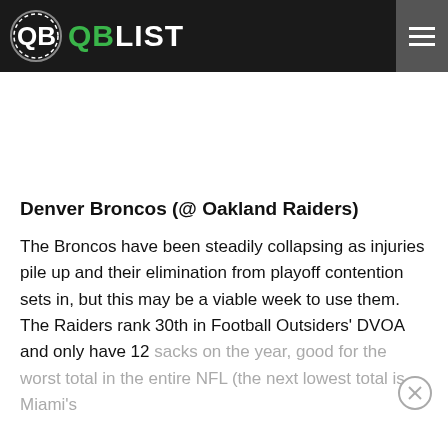QB LIST
Denver Broncos (@ Oakland Raiders)
The Broncos have been steadily collapsing as injuries pile up and their elimination from playoff contention sets in, but this may be a viable week to use them. The Raiders rank 30th in Football Outsiders' DVOA and only have 12 sacks on the year, good for the worst total in the entire NFL (the next lowest total is Miami's